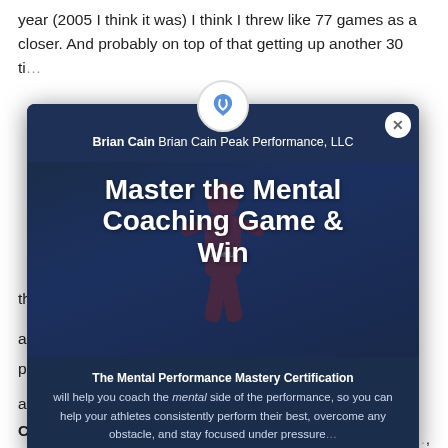year (2005 I think it was) I think I threw like 77 games as a closer. And probably on top of that getting up another 30 ti... h...
Y... g... fe... g... d... th... a... p... a... w...
[Figure (screenshot): Modal popup overlay from Brian Cain Peak Performance, LLC featuring a logo, close button, title 'Master the Mental Coaching Game & Win', athlete background image, and text about The Mental Performance Mastery Certification.]
Cain: So those days where you feel like you don't have it,